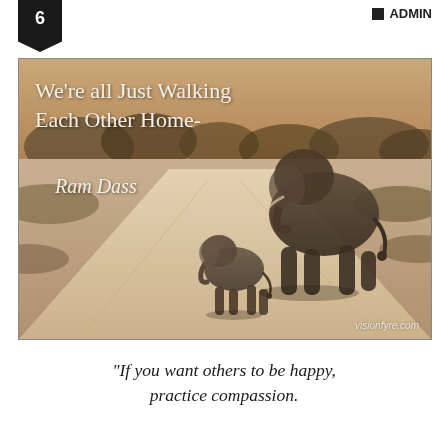6  ADMIN
[Figure (photo): Sepia-toned photo of a large adult elephant and a small baby elephant walking away from the camera down a dirt road, with trees and savanna in the background. Overlaid text reads: "We're all Just Walking Each Other Home- Ram Dass". Watermark: visionfyre.com]
“If you want others to be happy, practice compassion.